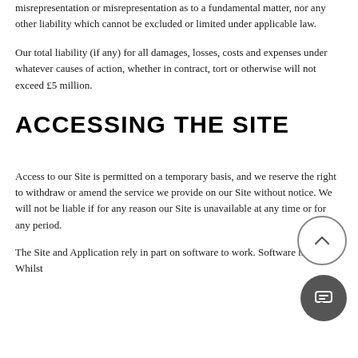misrepresentation or misrepresentation as to a fundamental matter, nor any other liability which cannot be excluded or limited under applicable law.
Our total liability (if any) for all damages, losses, costs and expenses under whatever causes of action, whether in contract, tort or otherwise will not exceed £5 million.
ACCESSING THE SITE
Access to our Site is permitted on a temporary basis, and we reserve the right to withdraw or amend the service we provide on our Site without notice. We will not be liable if for any reason our Site is unavailable at any time or for any period.
The Site and Application rely in part on software to work. Software has bugs. Whilst